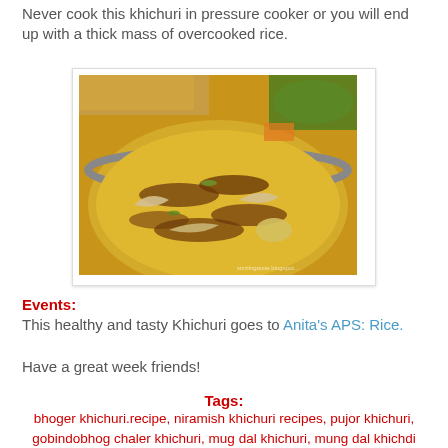Never cook this khichuri in pressure cooker or you will end up with a thick mass of overcooked rice.
[Figure (photo): A bowl of khichuri (Indian rice and lentil dish) topped with fried onions and other garnishes, with bread and a green vegetable dish visible in the background.]
Events: This healthy and tasty Khichuri goes to Anita's APS: Rice.
Have a great week friends!
Tags: bhoger khichuri.recipe, niramish khichuri recipes, pujor khichuri, gobindobhog chaler khichuri, mug dal khichuri, mung dal khichdi recipes, how to prepare bhoger khichuri, khichuri rice, how did khichuri rice, bhog khichuri,